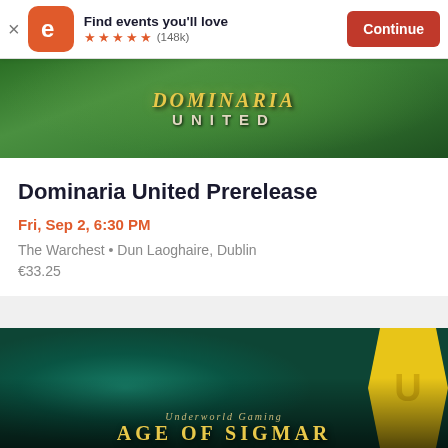[Figure (screenshot): Eventbrite app banner with logo, 'Find events you'll love', 5 stars (148k reviews), and orange Continue button]
[Figure (photo): Dominaria United card game promotional banner with green background and gold text]
Dominaria United Prerelease
Fri, Sep 2, 6:30 PM
The Warchest • Dun Laoghaire, Dublin
€33.25
[Figure (photo): Age of Sigmar promotional banner with teal skeleton warriors, yellow symbol, 'Underworld Gaming AGE OF SIGMAR' text]